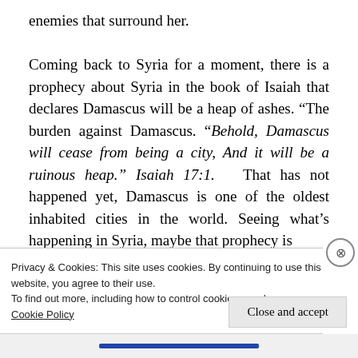enemies that surround her.

Coming back to Syria for a moment, there is a prophecy about Syria in the book of Isaiah that declares Damascus will be a heap of ashes. “The burden against Damascus. “Behold, Damascus will cease from being a city, And it will be a ruinous heap.” Isaiah 17:1.   That has not happened yet, Damascus is one of the oldest inhabited cities in the world. Seeing what’s happening in Syria, maybe that prophecy is
Privacy & Cookies: This site uses cookies. By continuing to use this website, you agree to their use.
To find out more, including how to control cookies, see here:
Cookie Policy
Close and accept